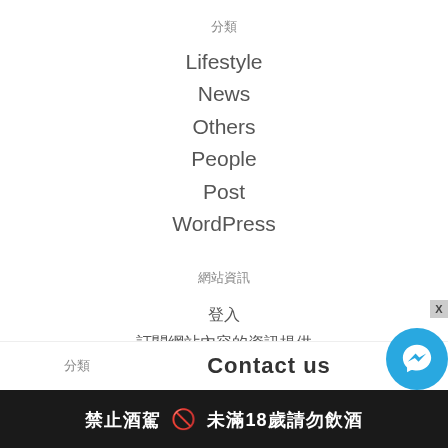分類
Lifestyle
News
Others
People
Post
WordPress
網站資訊
登入
訂閱網站內容的資訊提供
訂閱留言的資訊提供
WordPress.org 台灣繁體中文
分類
Contact us
禁止酒駕 🚫 未滿18歲請勿飲酒